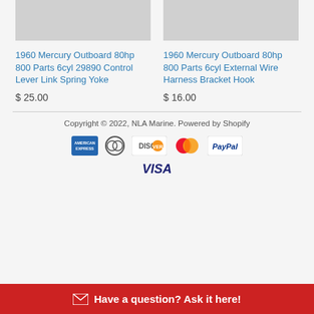[Figure (photo): Product image for 1960 Mercury Outboard 80hp 800 Parts 6cyl 29890 Control Lever Link Spring Yoke - gray/silver part on white background]
[Figure (photo): Product image for 1960 Mercury Outboard 80hp 800 Parts 6cyl External Wire Harness Bracket Hook - gray/silver part on white background]
1960 Mercury Outboard 80hp 800 Parts 6cyl 29890 Control Lever Link Spring Yoke
$ 25.00
1960 Mercury Outboard 80hp 800 Parts 6cyl External Wire Harness Bracket Hook
$ 16.00
Copyright © 2022, NLA Marine. Powered by Shopify
[Figure (logo): Payment method logos: American Express, Diners Club, Discover, MasterCard, PayPal, Visa]
Have a question? Ask it here!